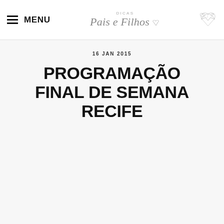MENU | DICAS Pais e Filhos
16 JAN 2015
PROGRAMAÇÃO FINAL DE SEMANA RECIFE